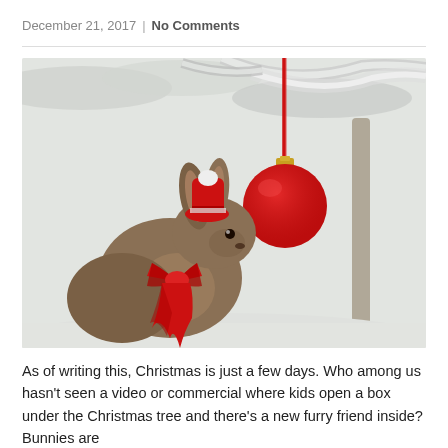December 21, 2017 | No Comments
[Figure (photo): A brown rabbit wearing a red bow tie and red hat sniffing a red Christmas ornament hanging from a snowy tree branch, winter outdoor scene with snow-covered branches.]
As of writing this, Christmas is just a few days. Who among us hasn't seen a video or commercial where kids open a box under the Christmas tree and there’s a new furry friend inside? Bunnies are